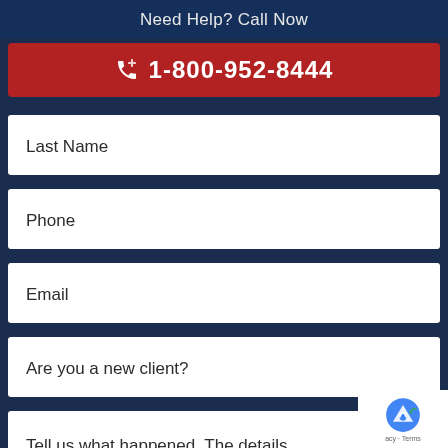Need Help? Call Now
1-800-952-8444
Last Name
Phone
Email
Are you a new client?
Tell us what happened. The details surrounding your potential claim will be